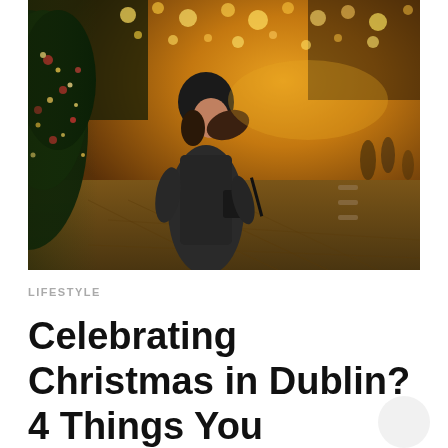[Figure (photo): A woman in a dark winter coat and black beanie hat stands on a cobblestone street at night, looking to the side and smiling. Christmas trees and festive golden lights are visible on the left side of the street, with warm bokeh lights illuminating the scene behind her.]
LIFESTYLE
Celebrating Christmas in Dublin? 4 Things You Shouldn't Miss This Holiday Season